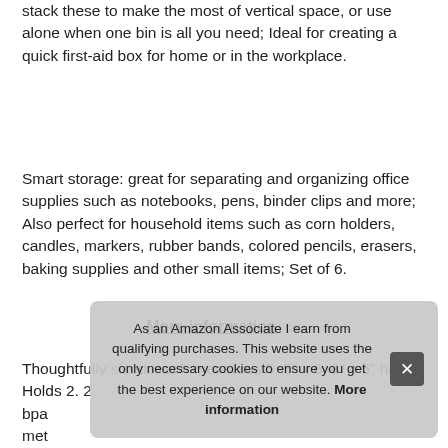stack these to make the most of vertical space, or use alone when one bin is all you need; Ideal for creating a quick first-aid box for home or in the workplace.
Smart storage: great for separating and organizing office supplies such as notebooks, pens, binder clips and more; Also perfect for household items such as corn holders, candles, markers, rubber bands, colored pencils, erasers, baking supplies and other small items; Set of 6.
More information #ad
Thoughtfully sized: each measures 5. 5" x 6. 6" x 5" high; Holds 2. 2 [bpa] [met] not
As an Amazon Associate I earn from qualifying purchases. This website uses the only necessary cookies to ensure you get the best experience on our website. More information